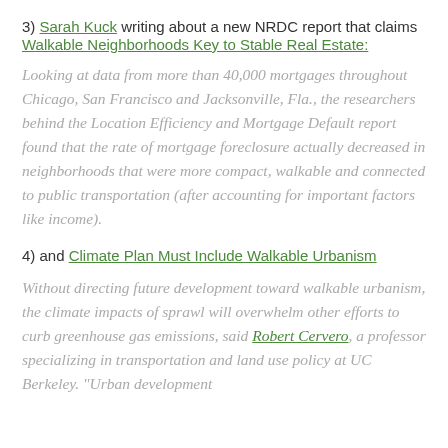3) Sarah Kuck writing about a new NRDC report that claims Walkable Neighborhoods Key to Stable Real Estate:
Looking at data from more than 40,000 mortgages throughout Chicago, San Francisco and Jacksonville, Fla., the researchers behind the Location Efficiency and Mortgage Default report found that the rate of mortgage foreclosure actually decreased in neighborhoods that were more compact, walkable and connected to public transportation (after accounting for important factors like income).
4) and Climate Plan Must Include Walkable Urbanism
Without directing future development toward walkable urbanism, the climate impacts of sprawl will overwhelm other efforts to curb greenhouse gas emissions, said Robert Cervero, a professor specializing in transportation and land use policy at UC Berkeley. "Urban development